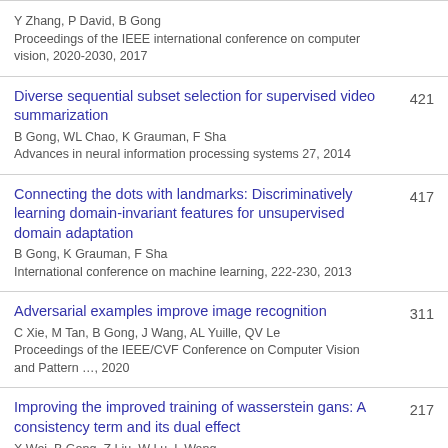Y Zhang, P David, B Gong
Proceedings of the IEEE international conference on computer vision, 2020-2030, 2017
Diverse sequential subset selection for supervised video summarization
B Gong, WL Chao, K Grauman, F Sha
Advances in neural information processing systems 27, 2014
421
Connecting the dots with landmarks: Discriminatively learning domain-invariant features for unsupervised domain adaptation
B Gong, K Grauman, F Sha
International conference on machine learning, 222-230, 2013
417
Adversarial examples improve image recognition
C Xie, M Tan, B Gong, J Wang, AL Yuille, QV Le
Proceedings of the IEEE/CVF Conference on Computer Vision and Pattern …, 2020
311
Improving the improved training of wasserstein gans: A consistency term and its dual effect
X Wei, B Gong, Z Liu, W Lu, L Wang
arXiv preprint arXiv:1803.01541, 2018
217